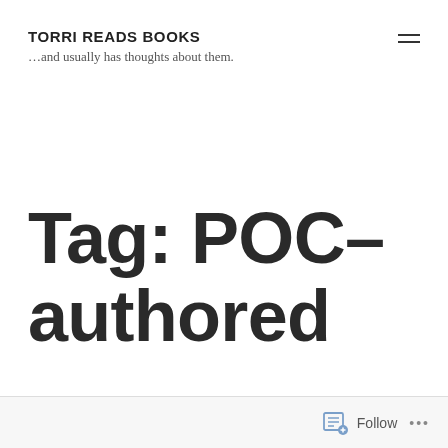TORRI READS BOOKS
…and usually has thoughts about them.
Tag: POC-authored
Follow ...